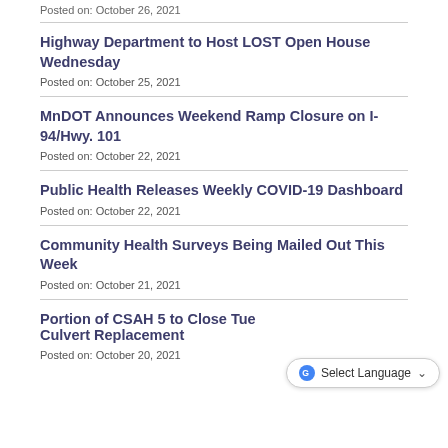Posted on: October 26, 2021
Highway Department to Host LOST Open House Wednesday
Posted on: October 25, 2021
MnDOT Announces Weekend Ramp Closure on I-94/Hwy. 101
Posted on: October 22, 2021
Public Health Releases Weekly COVID-19 Dashboard
Posted on: October 22, 2021
Community Health Surveys Being Mailed Out This Week
Posted on: October 21, 2021
Portion of CSAH 5 to Close Tuesday for Culvert Replacement
Posted on: October 20, 2021